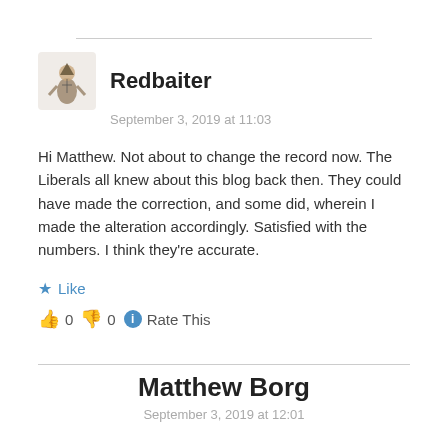Redbaiter
September 3, 2019 at 11:03
Hi Matthew. Not about to change the record now. The Liberals all knew about this blog back then. They could have made the correction, and some did, wherein I made the alteration accordingly. Satisfied with the numbers. I think they're accurate.
★ Like
👍 0 👎 0 ℹ Rate This
Matthew Borg
September 3, 2019 at 12:01